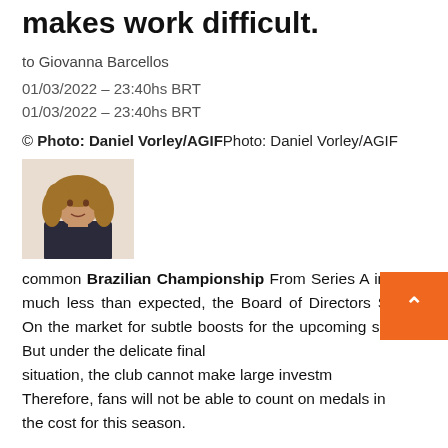makes work difficult.
to Giovanna Barcellos
01/03/2022 – 23:40hs BRT
01/03/2022 – 23:40hs BRT
© Photo: Daniel Vorley/AGIFPhoto: Daniel Vorley/AGIF
[Figure (photo): Portrait photo of a woman with curly hair]
common Brazilian Championship From Series A in 2021 much less than expected, the Board of Directors Santos On the market for subtle boosts for the upcoming season. But under the delicate financial situation, the club cannot make large investments. Therefore, fans will not be able to count on medals in the cost for this season.